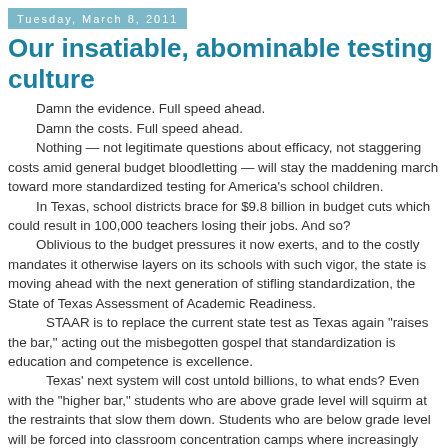Tuesday, March 8, 2011
Our insatiable, abominable testing culture
Damn the evidence. Full speed ahead.
Damn the costs. Full speed ahead.
Nothing — not legitimate questions about efficacy, not staggering costs amid general budget bloodletting — will stay the maddening march toward more standardized testing for America's school children.
In Texas, school districts brace for $9.8 billion in budget cuts which could result in 100,000 teachers losing their jobs. And so?
Oblivious to the budget pressures it now exerts, and to the costly mandates it otherwise layers on its schools with such vigor, the state is moving ahead with the next generation of stifling standardization, the State of Texas Assessment of Academic Readiness.
STAAR is to replace the current state test as Texas again "raises the bar," acting out the misbegotten gospel that standardization is education and competence is excellence.
Texas' next system will cost untold billions, to what ends? Even with the "higher bar," students who are above grade level will squirm at the restraints that slow them down. Students who are below grade level will be forced into classroom concentration camps where increasingly scripted instruction will direct their attention to the testing objectives where "new emphasis" is needed. Those in the middle will be misled into thinking that passing means excelling.
The bottom line of this sordid quest: We have deluded ourselves into believing that somehow if we assign the same academic pursuit to all students we'll get a uniformly educated student population. But of course, that is a joke. People learn at different speeds, have different aptitudes and interests, different influences at home.